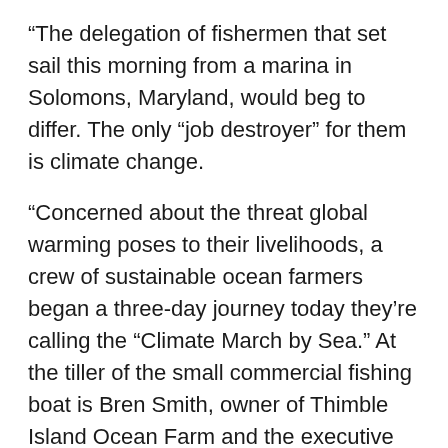“The delegation of fishermen that set sail this morning from a marina in Solomons, Maryland, would beg to differ. The only “job destroyer” for them is climate change.
“Concerned about the threat global warming poses to their livelihoods, a crew of sustainable ocean farmers began a three-day journey today they’re calling the “Climate March by Sea.” At the tiller of the small commercial fishing boat is Bren Smith, owner of Thimble Island Ocean Farm and the executive director of GreenWave. They’re heading south down the Chesapeake before they plan to turn north up the Potomac on their way to Washington, D.C.
“Their final destination: the Peoples Climate March, when thousands of people, including indigenous, civic, social justice, business, and environmental advocacy groups are